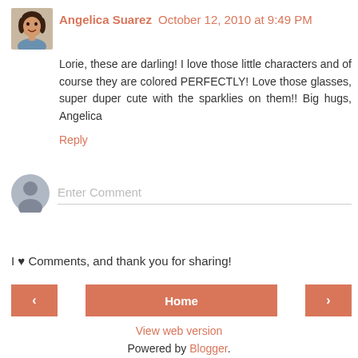[Figure (photo): Small avatar photo of Angelica Suarez, a woman smiling]
Angelica Suarez  October 12, 2010 at 9:49 PM
Lorie, these are darling! I love those little characters and of course they are colored PERFECTLY! Love those glasses, super duper cute with the sparklies on them!! Big hugs, Angelica
Reply
[Figure (illustration): Generic user avatar silhouette icon]
Enter Comment
I ♥ Comments, and thank you for sharing!
‹
Home
›
View web version
Powered by Blogger.